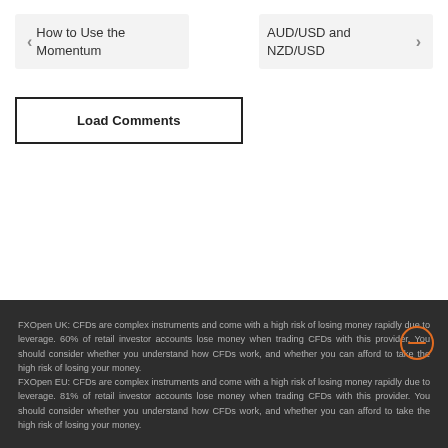How to Use the Momentum
AUD/USD and NZD/USD
Load Comments
FXOpen UK: CFDs are complex instruments and come with a high risk of losing money rapidly due to leverage. 60% of retail investor accounts lose money when trading CFDs with this provider. You should consider whether you understand how CFDs work, and whether you can afford to take the high risk of losing your money. FXOpen EU: CFDs are complex instruments and come with a high risk of losing money rapidly due to leverage. 81% of retail investor accounts lose money when trading CFDs with this provider. You should consider whether you understand how CFDs work, and whether you can afford to take the high risk of losing your money.